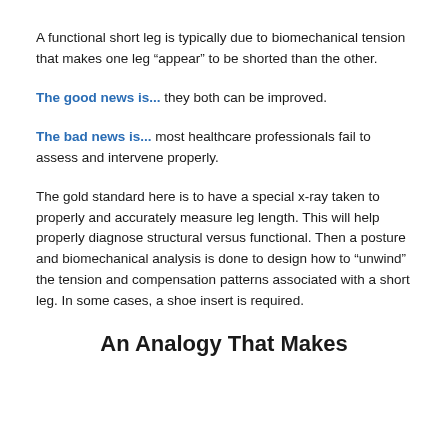A functional short leg is typically due to biomechanical tension that makes one leg "appear" to be shorted than the other.
The good news is... they both can be improved.
The bad news is... most healthcare professionals fail to assess and intervene properly.
The gold standard here is to have a special x-ray taken to properly and accurately measure leg length. This will help properly diagnose structural versus functional. Then a posture and biomechanical analysis is done to design how to "unwind" the tension and compensation patterns associated with a short leg. In some cases, a shoe insert is required.
An Analogy That Makes